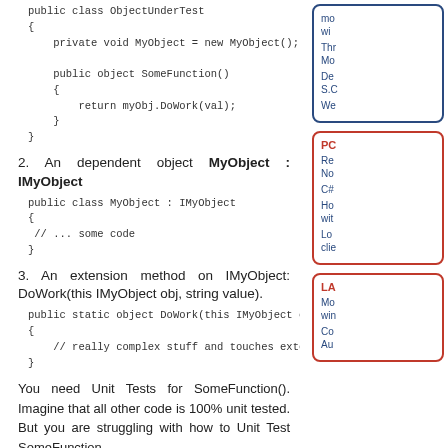public class ObjectUnderTest
    {
        private void MyObject = new MyObject();

        public object SomeFunction()
        {
            return myObj.DoWork(val);
        }
    }
2. An dependent object MyObject : IMyObject
public class MyObject : IMyObject
    {
     // ... some code
    }
3. An extension method on IMyObject: DoWork(this IMyObject obj, string value).
public static object DoWork(this IMyObject o
    {
        // really complex stuff and touches exte
    }
You need Unit Tests for SomeFunction(). Imagine that all other code is 100% unit tested. But you are struggling with how to Unit Test SomeFunction...